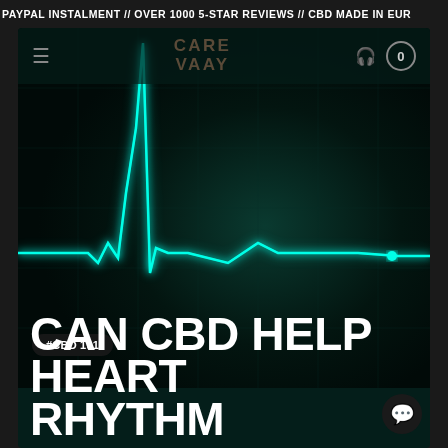PAYPAL INSTALMENT // OVER 1000 5-STAR REVIEWS // CBD MADE IN EUR
[Figure (screenshot): VAAY CBD brand website navigation bar with hamburger menu, VAAY logo text, headphone icon and cart circle showing 0]
[Figure (photo): Dark teal/green background with bright cyan glowing ECG/heart rhythm waveform showing a sharp spike in the center]
#CBD 101
CAN CBD HELP HEART RHYTHM